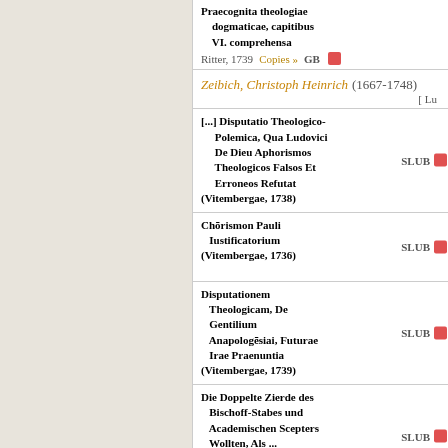Praecognita theologiae dogmaticae, capitibus VI. comprehensa
Ritter, 1739   Copies »   GB
Zeibich, Christoph Heinrich (1667-1748)
[ Lu
[...] Disputatio Theologico-Polemica, Qua Ludovici De Dieu Aphorismos Theologicos Falsos Et Erroneos Refutat (Vitembergae, 1738)   SLUB
Chōrismon Pauli Iustificatorium (Vitembergae, 1736)   SLUB
Disputationem Theologicam, De Gentilium Anapologēsiai, Futurae Irae Praenuntia (Vitembergae, 1739)   SLUB
Die Doppelte Zierde des Bischoff-Stabes und Academischen Scepters Wollten, Als ... Christoph Heinrich Zeibich, Der Heil.   SLUB